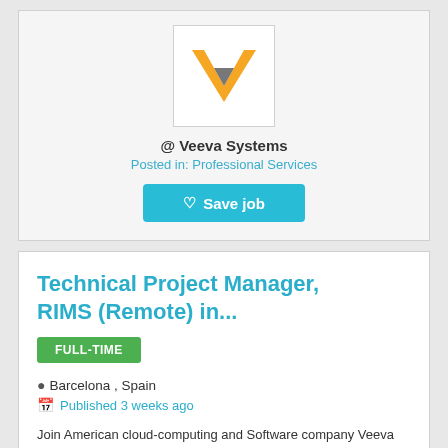[Figure (logo): Veeva Systems logo: orange V shape with gray inverted triangle in center, on white background with gray border]
@ Veeva Systems
Posted in: Professional Services
Save job
Technical Project Manager, RIMS (Remote) in...
FULL-TIME
Barcelona , Spain
Published 3 weeks ago
Join American cloud-computing and Software company Veeva Systems, currently hiring Technical Project Manager, RIMS (Remote) in Barcelona ,